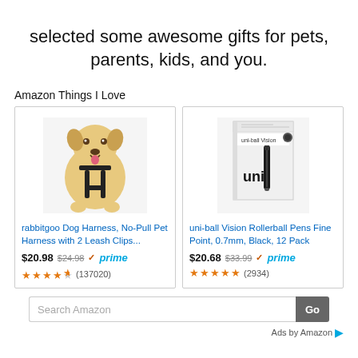selected some awesome gifts for pets, parents, kids, and you.
Amazon Things I Love
[Figure (photo): Photo of a yellow Labrador dog wearing a black harness, sitting and facing forward with mouth open.]
rabbitgoo Dog Harness, No-Pull Pet Harness with 2 Leash Clips...
$20.98  $24.98  ✓prime  ★★★★½ (137020)
[Figure (photo): Photo of a box of uni-ball Vision Rollerball Pens Fine Point.]
uni-ball Vision Rollerball Pens Fine Point, 0.7mm, Black, 12 Pack
$20.68  $33.99  ✓prime  ★★★★★ (2934)
Search Amazon
Go
Ads by Amazon ▷